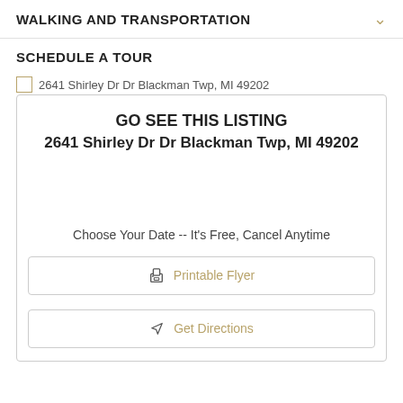WALKING AND TRANSPORTATION
SCHEDULE A TOUR
2641 Shirley Dr Dr Blackman Twp, MI 49202
GO SEE THIS LISTING
2641 Shirley Dr Dr Blackman Twp, MI 49202
Choose Your Date -- It's Free, Cancel Anytime
Printable Flyer
Get Directions